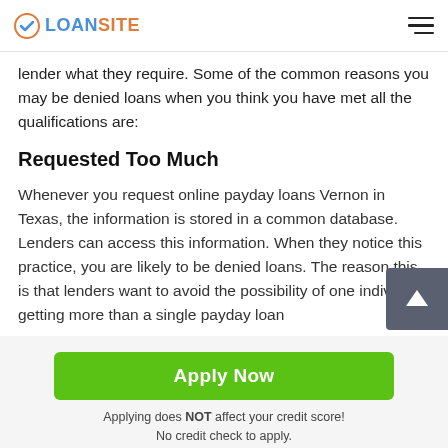LOANSITE
lender what they require. Some of the common reasons you may be denied loans when you think you have met all the qualifications are:
Requested Too Much
Whenever you request online payday loans Vernon in Texas, the information is stored in a common database. Lenders can access this information. When they notice this practice, you are likely to be denied loans. The reason this is that lenders want to avoid the possibility of one individual getting more than a single payday loan
Apply Now
Applying does NOT affect your credit score!
No credit check to apply.